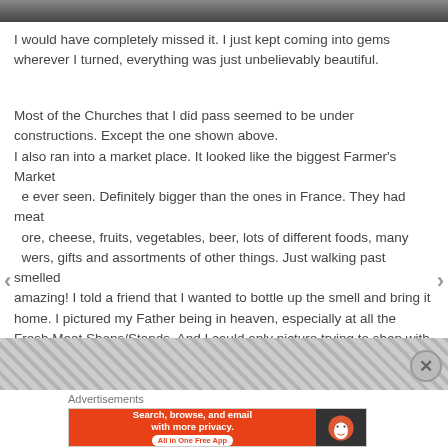[Figure (photo): Partial photo strip at top of page showing dark figures/scene]
I would have completely missed it. I just kept coming into gems wherever I turned, everything was just unbelievably beautiful.
Most of the Churches that I did pass seemed to be under constructions. Except the one shown above.
I also ran into a market place. It looked like the biggest Farmer's Market e ever seen. Definitely bigger than the ones in France. They had meat ore, cheese, fruits, vegetables, beer, lots of different foods, many wers, gifts and assortments of other things. Just walking past smelled amazing! I told a friend that I wanted to bottle up the smell and bring it home. I pictured my Father being in heaven, especially at all the Fresh Meat Shops/Stands. And I could only picture trying to shop with him there.
[Figure (photo): Partial photo strip at bottom showing black and white tree branches/foliage]
Advertisements
[Figure (screenshot): DuckDuckGo advertisement banner: Search, browse, and email with more privacy. All in One Free App]